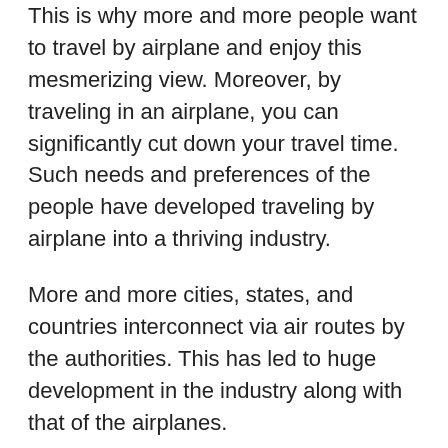This is why more and more people want to travel by airplane and enjoy this mesmerizing view. Moreover, by traveling in an airplane, you can significantly cut down your travel time. Such needs and preferences of the people have developed traveling by airplane into a thriving industry.
More and more cities, states, and countries interconnect via air routes by the authorities. This has led to huge development in the industry along with that of the airplanes.
Nowadays you'll be able to find more than one kind of airplane. Some commonly used airplanes include Piston Aircraft, Jets, Narrow Body Aircraft, Wide Body Airliner, Commuter Liner, Airbus, and Concord. However, these airlines come to use according to the needs and requirements of the